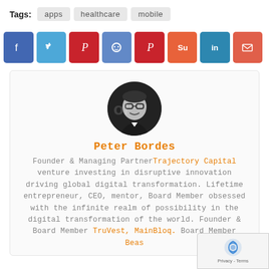Tags: apps  healthcare  mobile
[Figure (infographic): Row of 8 social media share buttons: Facebook (blue), Twitter (light blue), Pinterest (red), Reddit (blue), Pinterest (red), StumbleUpon (orange), LinkedIn (teal), Email (red-orange)]
[Figure (photo): Circular black and white profile photo of Peter Bordes, a man in a suit with glasses, smiling]
Peter Bordes
Founder & Managing Partner Trajectory Capital venture investing in disruptive innovation driving global digital transformation. Lifetime entrepreneur, CEO, mentor, Board Member obsessed with the infinite realm of possibility in the digital transformation of the world. Founder & Board Member TruVest, MainBloq. Board Member Beast Media (NASDAQ: BBGI) Fraud.Net, Hoo.Be, AI El...